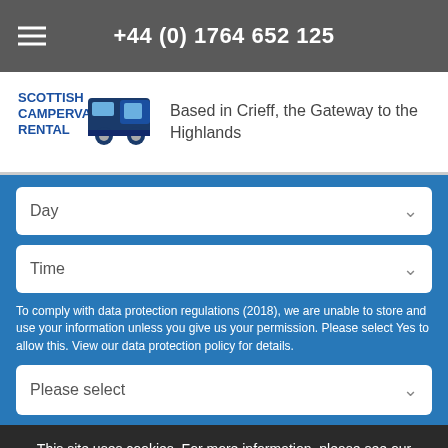+44 (0) 1764 652 125
[Figure (logo): Scottish Campervan Rental logo with campervan icon in dark blue]
Based in Crieff, the Gateway to the Highlands
Day
Time
To comply with data protection regulations (2018), we are unable to store and use your information unless you give us your permission. Please select Yes to allow this. View our data protection policy for details.
Please select
This site uses cookies. For more information, please see our Privacy and Cookie Notice. If you don't agree to our use of cookies, please navigate away from this site now.
ACCEPT